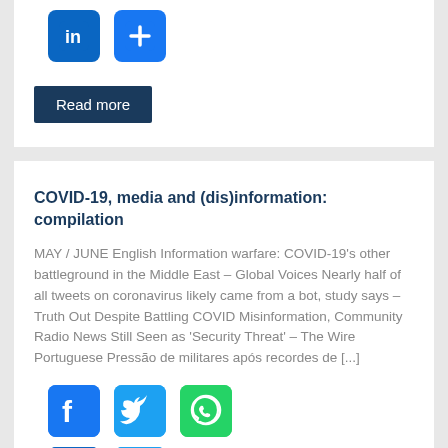[Figure (other): Social share icons (LinkedIn, Facebook/plus) at top of first card]
Read more
COVID-19, media and (dis)information: compilation
MAY / JUNE English Information warfare: COVID-19's other battleground in the Middle East – Global Voices Nearly half of all tweets on coronavirus likely came from a bot, study says – Truth Out Despite Battling COVID Misinformation, Community Radio News Still Seen as 'Security Threat' – The Wire Portuguese Pressão de militares após recordes de [...]
[Figure (other): Social share icons: Facebook, Twitter, WhatsApp, LinkedIn, More (+)]
Read more